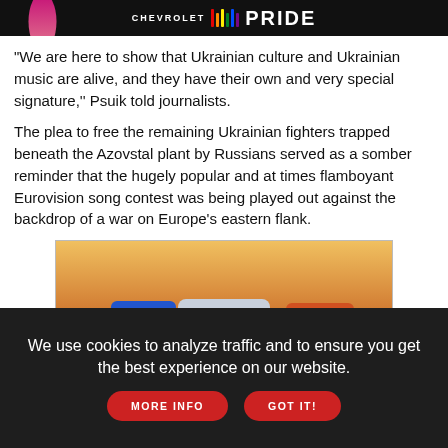[Figure (photo): Chevrolet Pride advertisement banner with a person and colorful pride bars and large PRIDE text on dark background]
"We are here to show that Ukrainian culture and Ukrainian music are alive, and they have their own and very special signature,'' Psuik told journalists.
The plea to free the remaining Ukrainian fighters trapped beneath the Azovstal plant by Russians served as a somber reminder that the hugely popular and at times flamboyant Eurovision song contest was being played out against the backdrop of a war on Europe's eastern flank.
[Figure (photo): Lexus advertisement showing three cars: ES F SPORT (blue), RX F SPORT (silver/gray), and NX F SPORT (orange/red) on a reflective surface with warm sunset background]
We use cookies to analyze traffic and to ensure you get the best experience on our website. MORE INFO  GOT IT!